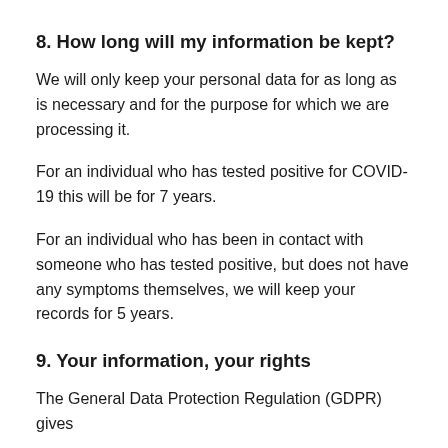8. How long will my information be kept?
We will only keep your personal data for as long as is necessary and for the purpose for which we are processing it.
For an individual who has tested positive for COVID-19 this will be for 7 years.
For an individual who has been in contact with someone who has tested positive, but does not have any symptoms themselves, we will keep your records for 5 years.
9. Your information, your rights
The General Data Protection Regulation (GDPR) gives